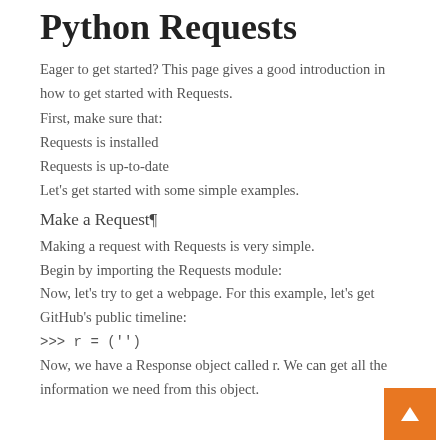Python Requests
Eager to get started? This page gives a good introduction in how to get started with Requests.
First, make sure that:
Requests is installed
Requests is up-to-date
Let's get started with some simple examples.
Make a Request¶
Making a request with Requests is very simple.
Begin by importing the Requests module:
Now, let's try to get a webpage. For this example, let's get GitHub's public timeline:
>>> r = ('')
Now, we have a Response object called r. We can get all the information we need from this object.